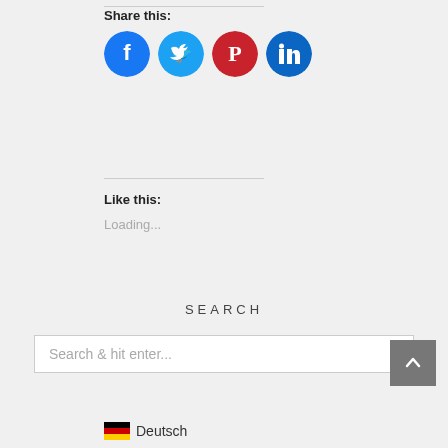Share this:
[Figure (infographic): Four circular social media share buttons: Facebook (blue), Twitter (cyan), Pinterest (red), LinkedIn (dark blue)]
Like this:
Loading...
SEARCH
Search & hit enter...
Deutsch